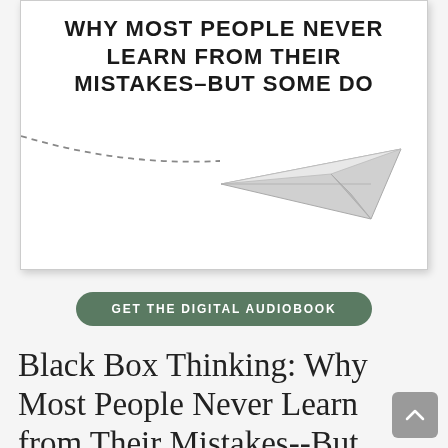[Figure (illustration): Book cover for 'Black Box Thinking: Why Most People Never Learn from Their Mistakes–But Some Do' showing bold uppercase title text and a paper airplane with a dashed flight path on a white background.]
GET THE DIGITAL AUDIOBOOK
Black Box Thinking: Why Most People Never Learn from Their Mistakes--But Some Do (Hardcover)